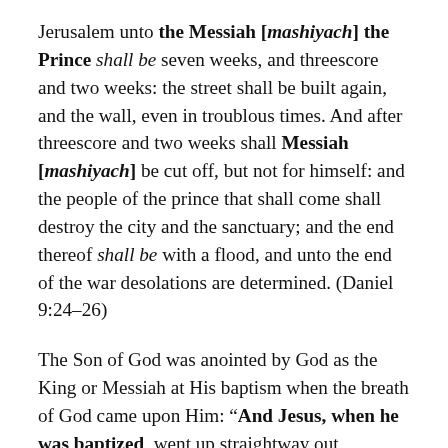Jerusalem unto the Messiah [mashiyach] the Prince shall be seven weeks, and threescore and two weeks: the street shall be built again, and the wall, even in troublous times. And after threescore and two weeks shall Messiah [mashiyach] be cut off, but not for himself: and the people of the prince that shall come shall destroy the city and the sanctuary; and the end thereof shall be with a flood, and unto the end of the war desolations are determined. (Daniel 9:24–26)
The Son of God was anointed by God as the King or Messiah at His baptism when the breath of God came upon Him: “And Jesus, when he was baptized, went up straightway out